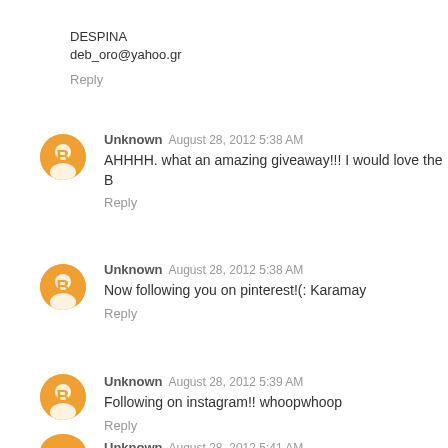DESPINA
deb_oro@yahoo.gr
Reply
Unknown  August 28, 2012 5:38 AM
AHHHH. what an amazing giveaway!!! I would love the B
Reply
Unknown  August 28, 2012 5:38 AM
Now following you on pinterest!(: Karamay
Reply
Unknown  August 28, 2012 5:39 AM
Following on instagram!! whoopwhoop
Reply
Unknown  August 28, 2012 5:41 AM